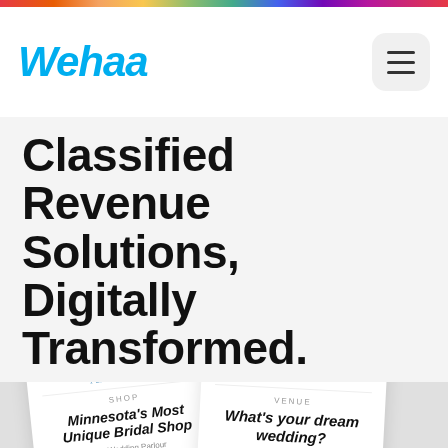wehaa (logo)
Classified Revenue Solutions, Digitally Transformed.
[Figure (illustration): Illustration showing business listing cards for 'The Wedding Parlour' and 'Breezy Point Resort', a Google SEO icon, a map pin, and an Analytics Reports card with bar chart mini-preview.]